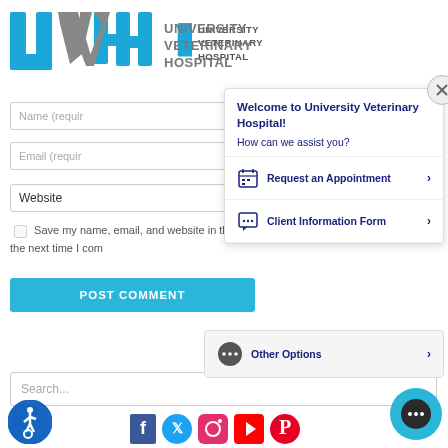[Figure (logo): University Veterinary Hospital logo with UVH letters in blue and gray, plus text 'UNIVERSITY VETERINARY HOSPITAL']
Name (requir
Email (requir
Website
Save my name, email, and website in this browser for the next time I com
POST COMMENT
Welcome to University Veterinary Hospital!
How can we assist you?
Request an Appointment >
Client Information Form >
Other Options >
Search...
[Figure (screenshot): Accessibility icon - wheelchair user in blue circle]
[Figure (screenshot): Social media icons: Facebook, Twitter, Instagram, YouTube, Pinterest]
[Figure (screenshot): Chat bubble button in teal]